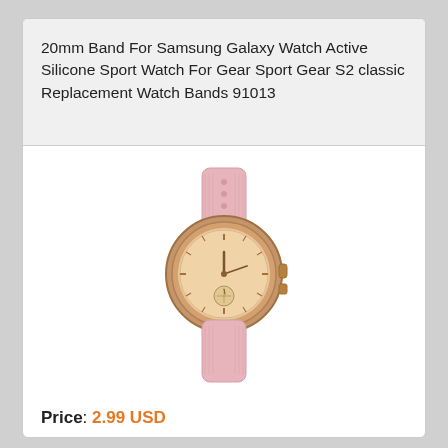20mm Band For Samsung Galaxy Watch Active Silicone Sport Watch For Gear Sport Gear S2 classic Replacement Watch Bands 91013
[Figure (photo): A rose gold Samsung Galaxy Watch with a pink silicone sport band, shown at an angle against a white background.]
Price: 2.99 USD